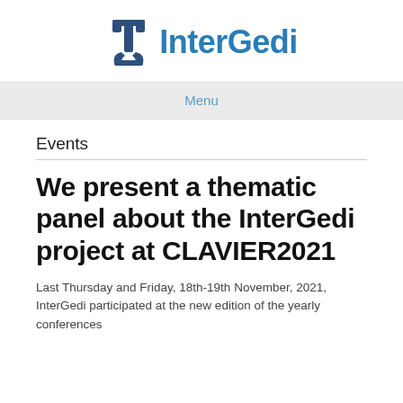[Figure (logo): InterGedi logo with stylized 'I' icon in dark blue and the text 'InterGedi' in medium blue]
Menu
Events
We present a thematic panel about the InterGedi project at CLAVIER2021
Last Thursday and Friday, 18th-19th November, 2021, InterGedi participated at the new edition of the yearly conferences